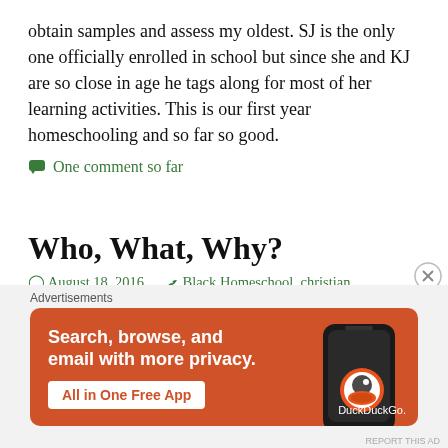obtain samples and assess my oldest. SJ is the only one officially enrolled in school but since she and KJ are so close in age he tags along for most of her learning activities. This is our first year homeschooling and so far so good.
One comment so far
Who, What, Why?
August 18, 2016  Black Homeschool, christian homeschool, easy homeschool, fun homeschool, homeschool  Black Homeschool, christian homeschool, easy homeschool, fun
[Figure (screenshot): DuckDuckGo advertisement banner with orange background. Text reads: 'Search, browse, and email with more privacy. All in One Free App'. Shows a phone with DuckDuckGo logo. Has 'Advertisements' label above and a close (X) button to the right.]